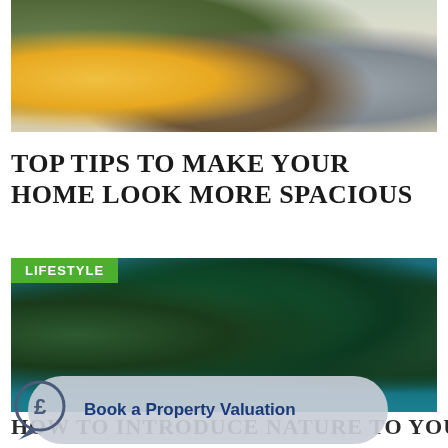[Figure (photo): Interior living room with yellow sofa, wooden coffee table, and grey pouffe]
TOP TIPS TO MAKE YOUR HOME LOOK MORE SPACIOUS
[Figure (photo): Indoor plants arranged on wooden furniture against a teal wall, with LIFESTYLE badge overlay]
HOW TO INTRODUCE NATURE TO YOUR
Book a Property Valuation